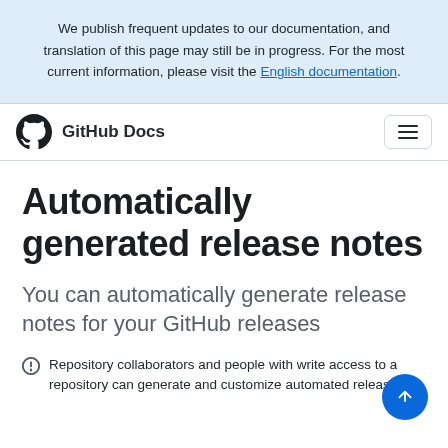We publish frequent updates to our documentation, and translation of this page may still be in progress. For the most current information, please visit the English documentation.
GitHub Docs
Automatically generated release notes
You can automatically generate release notes for your GitHub releases
Repository collaborators and people with write access to a repository can generate and customize automated release